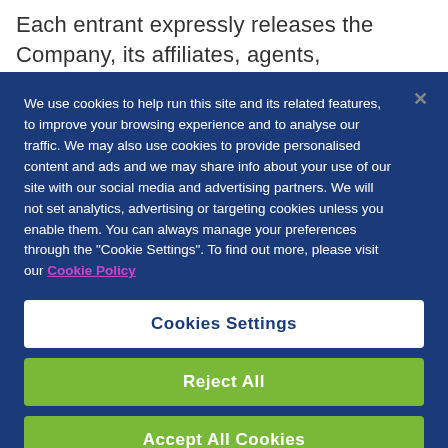Each entrant expressly releases the Company, its affiliates, agents, employees and directors from any
We use cookies to help run this site and its related features, to improve your browsing experience and to analyse our traffic. We may also use cookies to provide personalised content and ads and we may share info about your use of our site with our social media and advertising partners. We will not set analytics, advertising or targeting cookies unless you enable them. You can always manage your preferences through the "Cookie Settings". To find out more, please visit our Cookie Policy
Cookies Settings
Reject All
Accept All Cookies